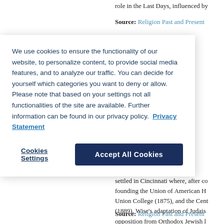role in the Last Days, influenced by
Source: Religion Past and Present
[Figure (screenshot): Cookie consent overlay dialog with text about cookie usage, a 'Cookies Settings' button, and an 'Accept All Cookies' button]
St... m... Bo...
settled in Cincinnati where, after co founding the Union of American H Union College (1875), and the Cent (1889). Wise's adaptation of Judais opposition from Orthodox Jewish l Temkin, Isaac Mayer Wise: Sha...
Source: Religion Past and Present